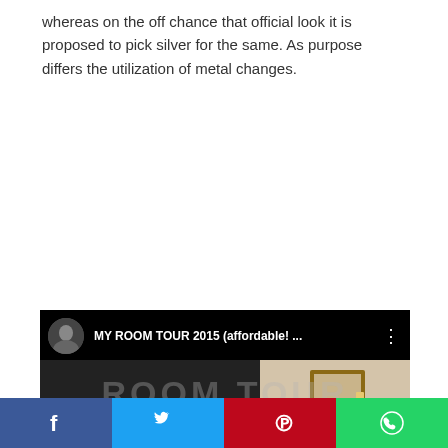whereas on the off chance that official look it is proposed to pick silver for the same. As purpose differs the utilization of metal changes.
[Figure (screenshot): Embedded YouTube video thumbnail showing 'MY ROOM TOUR 2015 (affordable! ...' with a dark top bar, channel avatar, video title, three-dot menu, and room tour thumbnail image below.]
[Figure (infographic): Social media share bar with Facebook (blue), Twitter (blue), Pinterest (red), WhatsApp (green) buttons, and an orange share button below.]